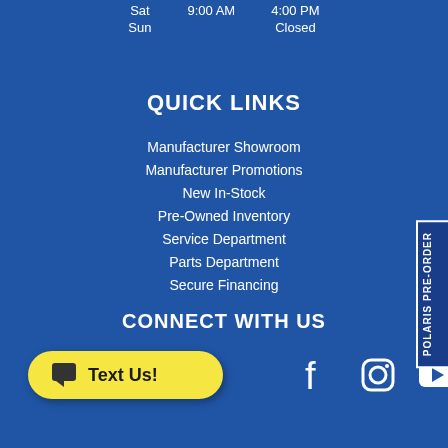| Sat | 9:00 AM | 4:00 PM |
| Sun |  | Closed |
QUICK LINKS
Manufacturer Showroom
Manufacturer Promotions
New In-Stock
Pre-Owned Inventory
Service Department
Parts Department
Secure Financing
CONNECT WITH US
Text Us!
[Figure (illustration): Social media icons: Facebook, Instagram, YouTube]